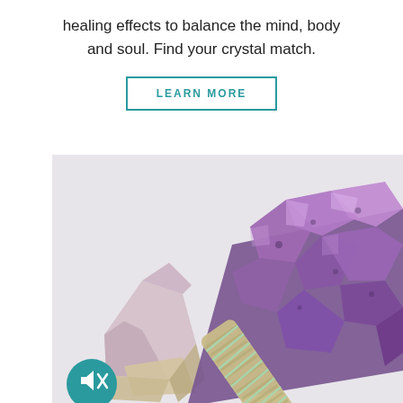healing effects to balance the mind, body and soul. Find your crystal match.
[Figure (other): Button with teal border reading LEARN MORE]
[Figure (photo): Photo of amethyst crystal clusters with a sage smudge stick wrapped in green twine leaning against the crystals, on a white background. A teal mute/unmute button is visible in the lower left corner.]